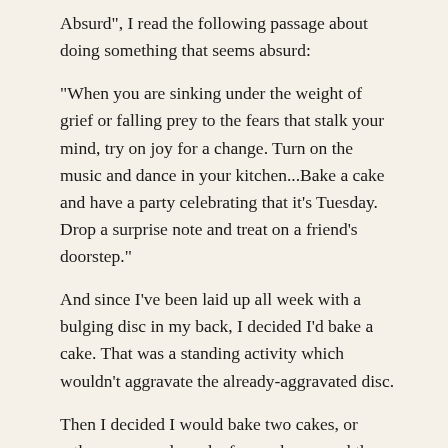Absurd", I read the following passage about doing something that seems absurd:
“When you are sinking under the weight of grief or falling prey to the fears that stalk your mind, try on joy for a change. Turn on the music and dance in your kitchen...Bake a cake and have a party celebrating that it's Tuesday. Drop a surprise note and treat on a friend's doorstep.”
And since I've been laid up all week with a bulging disc in my back, I decided I'd bake a cake. That was a standing activity which wouldn't aggravate the already-aggravated disc.
Then I decided I would bake two cakes, or rather, one regular cake for my house and three smaller cakes to give away. Treats on the doorstep. For no other reason than it is snowing again.
As I stood in the kitchen, finding the recipe and